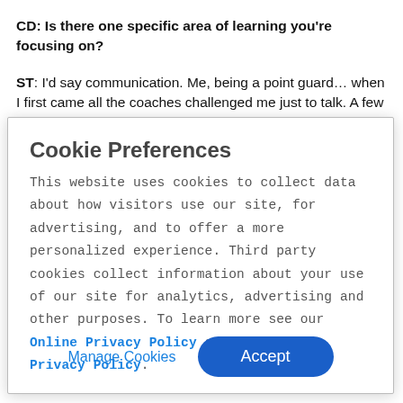CD: Is there one specific area of learning you're focusing on?
ST: I'd say communication. Me, being a point guard… when I first came all the coaches challenged me just to talk. A few weeks into practice we were starting to do live segments, 5 on 5, and they would
Cookie Preferences
This website uses cookies to collect data about how visitors use our site, for advertising, and to offer a more personalized experience. Third party cookies collect information about your use of our site for analytics, advertising and other purposes. To learn more see our Online Privacy Policy and California Privacy Policy.
Manage Cookies
Accept